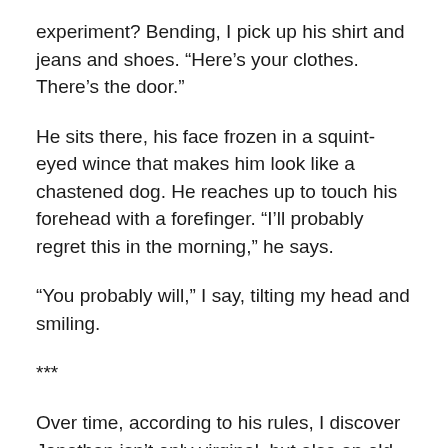experiment? Bending, I pick up his shirt and jeans and shoes. “Here’s your clothes. There’s the door.”
He sits there, his face frozen in a squint-eyed wince that makes him look like a chastened dog. He reaches up to touch his forehead with a forefinger. “I’ll probably regret this in the morning,” he says.
“You probably will,” I say, tilting my head and smiling.
***
Over time, according to his rules, I discover Jonathan isn’t only virginal, but also an old-fashioned romantic. He doesn’t like to think of himself that way, however. A reformed atheist, he talks about “significance.” “I want everything to be perfect between us,” he says to me. We’re lying in bed together at this fancy bed-and-breakfast